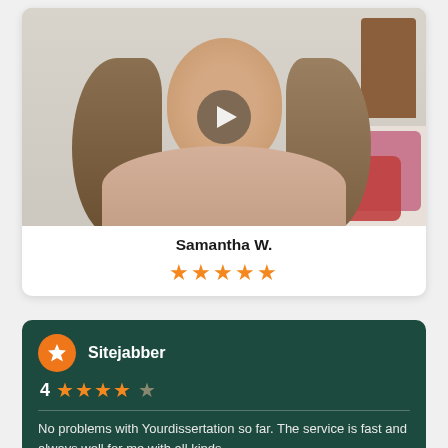[Figure (photo): Video thumbnail of a young woman with long blonde hair wearing a beige sweater, sitting in a bedroom. A play button overlay is visible in the center of the image.]
Samantha W.
★★★★★ (5 stars)
Sitejabber
4 ★★★★☆
No problems with Yourdissertation so far. The service is fast and always well for me with all kinds...